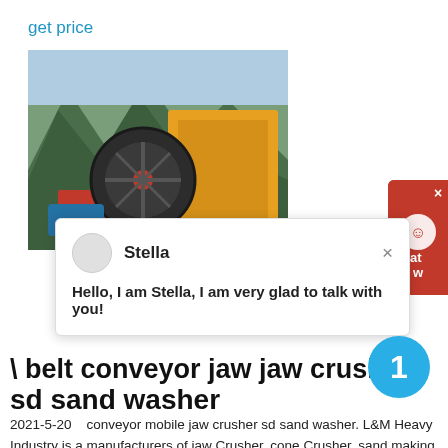get price
[Figure (photo): Photograph of heavy mining/crushing machinery (jaw crusher) with a large flywheel visible, yellow machine frame, set against a green mountainous/rocky background outdoors.]
[Figure (screenshot): Chat widget popup overlay showing avatar placeholder, name 'Stella', close button (×), and message: 'Hello, I am Stella, I am very glad to talk with you!' Also a red sidebar with chat icon and 'at' / 'w' text.]
\...belt conveyor jaw jaw crusher sd sand washer
2021-5-20    conveyor mobile jaw crusher sd sand washer. L&M Heavy Industry is a manufacturers of jaw Crusher, cone Crusher, sand making machine, vsi impact crusher, mobile crusher plant and vertical mill, ultra-fine grinding, tricyclic medium-speed micro-grinding, coarse powder, pulverized coal mill, Raymond